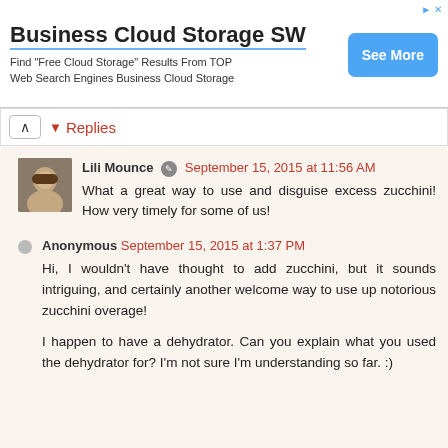[Figure (screenshot): Advertisement banner for Business Cloud Storage SW with 'See More' button]
Replies
Lili Mounce September 15, 2015 at 11:56 AM
What a great way to use and disguise excess zucchini! How very timely for some of us!
Anonymous September 15, 2015 at 1:37 PM
Hi, I wouldn't have thought to add zucchini, but it sounds intriguing, and certainly another welcome way to use up notorious zucchini overage!

I happen to have a dehydrator. Can you explain what you used the dehydrator for? I'm not sure I'm understanding so far. :)